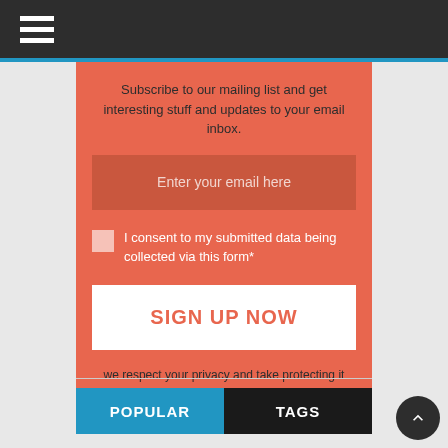[Figure (screenshot): Dark navigation bar with hamburger menu icon (three white horizontal lines)]
Subscribe to our mailing list and get interesting stuff and updates to your email inbox.
[Figure (screenshot): Email input field with placeholder text 'Enter your email here' on dark orange background]
I consent to my submitted data being collected via this form*
[Figure (screenshot): White button with orange text 'SIGN UP NOW']
we respect your privacy and take protecting it seriously
[Figure (screenshot): Tab buttons: POPULAR (blue) and TAGS (black)]
[Figure (screenshot): Dark circular scroll-to-top button with upward chevron icon]